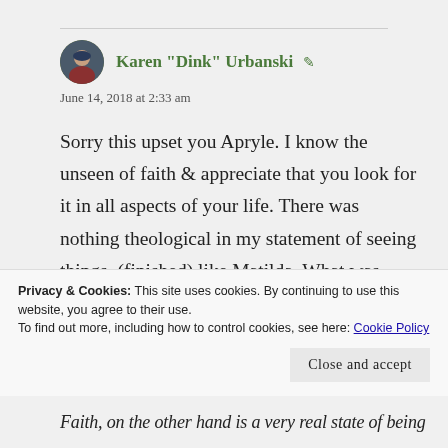Karen "Dink" Urbanski
June 14, 2018 at 2:33 am
Sorry this upset you Apryle. I know the unseen of faith & appreciate that you look for it in all aspects of your life. There was nothing theological in my statement of seeing things, (finished) like Matilda. What was meant was an ability to look at something so incredibly ugly, worn & rusty and in my minds-
Privacy & Cookies: This site uses cookies. By continuing to use this website, you agree to their use.
To find out more, including how to control cookies, see here: Cookie Policy
Close and accept
Faith, on the other hand is a very real state of being